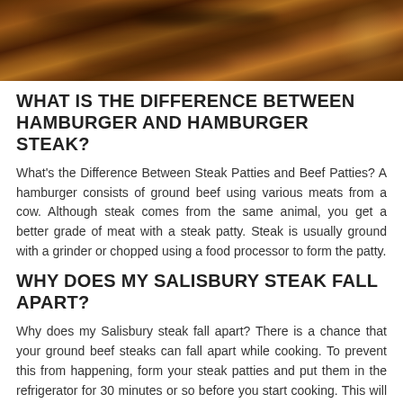[Figure (photo): Close-up photo of dark brown gravy or sauce over a meat dish, viewed from above]
WHAT IS THE DIFFERENCE BETWEEN HAMBURGER AND HAMBURGER STEAK?
What's the Difference Between Steak Patties and Beef Patties? A hamburger consists of ground beef using various meats from a cow. Although steak comes from the same animal, you get a better grade of meat with a steak patty. Steak is usually ground with a grinder or chopped using a food processor to form the patty.
WHY DOES MY SALISBURY STEAK FALL APART?
Why does my Salisbury steak fall apart? There is a chance that your ground beef steaks can fall apart while cooking. To prevent this from happening, form your steak patties and put them in the refrigerator for 30 minutes or so before you start cooking. This will help hold your steaks stay together.
IS IT OK TO EAT MEDIUM RARE HAMBURGER?